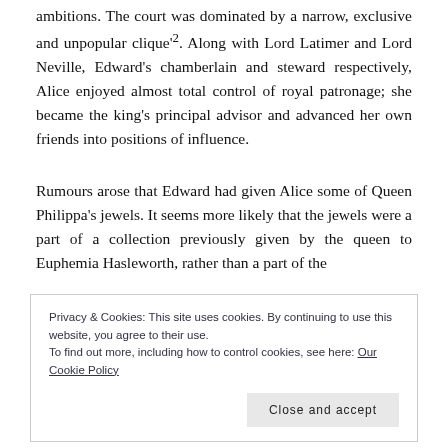ambitions. The court was dominated by a narrow, exclusive and unpopular clique'². Along with Lord Latimer and Lord Neville, Edward's chamberlain and steward respectively, Alice enjoyed almost total control of royal patronage; she became the king's principal advisor and advanced her own friends into positions of influence.
Rumours arose that Edward had given Alice some of Queen Philippa's jewels. It seems more likely that the jewels were a part of a collection previously given by the queen to Euphemia Hasleworth, rather than a part of the
Privacy & Cookies: This site uses cookies. By continuing to use this website, you agree to their use.
To find out more, including how to control cookies, see here: Our Cookie Policy
Close and accept